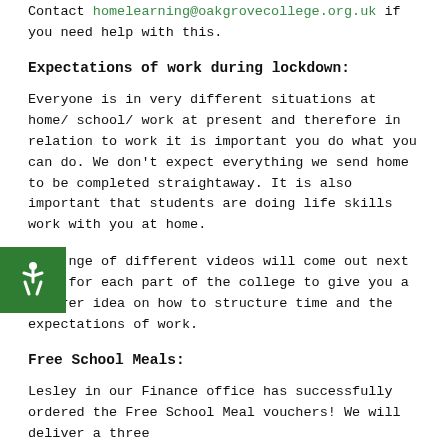Contact homelearning@oakgrovecollege.org.uk if you need help with this.
Expectations of work during lockdown:
Everyone is in very different situations at home/ school/ work at present and therefore in relation to work it is important you do what you can do. We don't expect everything we send home to be completed straightaway. It is also important that students are doing life skills work with you at home.
A range of different videos will come out next week for each part of the college to give you a clearer idea on how to structure time and the expectations of work.
Free School Meals:
Lesley in our Finance office has successfully ordered the Free School Meal vouchers! We will deliver a three